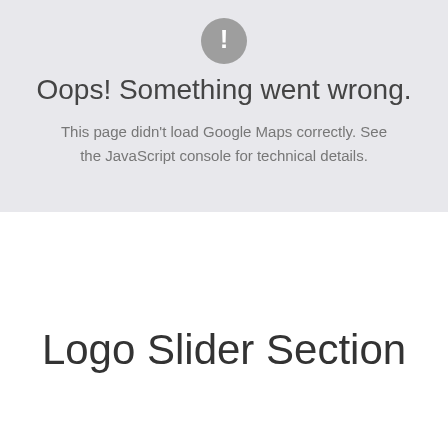[Figure (other): Gray circular icon with exclamation mark (error indicator)]
Oops! Something went wrong.
This page didn't load Google Maps correctly. See the JavaScript console for technical details.
Logo Slider Section